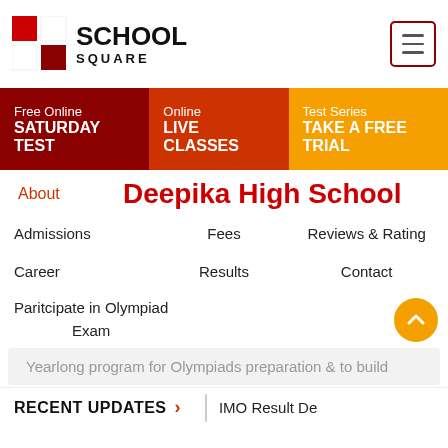[Figure (logo): School Square logo with red and dark red grid squares and bold text SCHOOL SQUARE]
Free Online SATURDAY TEST
Online LIVE CLASSES
Test Series TAKE A FREE TRIAL
About
Deepika High School
Admissions
Fees
Reviews & Rating
Career
Results
Contact
Paritcipate in Olympiad Exam
Yearlong program for Olympiads preparation & to build
RECENT UPDATES
IMO Result De